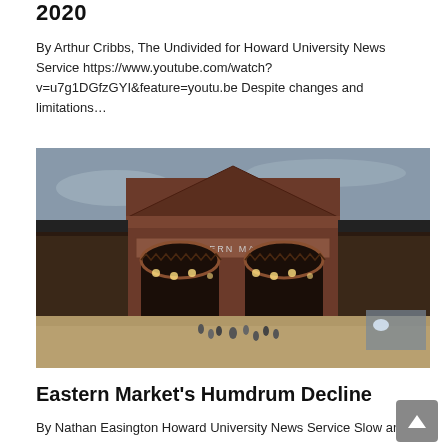2020
By Arthur Cribbs, The Undivided for Howard University News Service https://www.youtube.com/watch?v=u7g1DGfzGYI&feature=youtu.be Despite changes and limitations...
[Figure (photo): Eastern Market building entrance with brick facade, arched doorways, and people walking inside]
Eastern Market's Humdrum Decline
By Nathan Easington Howard University News Service Slow and